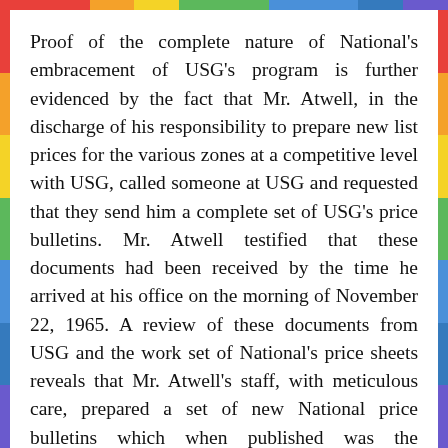Proof of the complete nature of National's embracement of USG's program is further evidenced by the fact that Mr. Atwell, in the discharge of his responsibility to prepare new list prices for the various zones at a competitive level with USG, called someone at USG and requested that they send him a complete set of USG's price bulletins. Mr. Atwell testified that these documents had been received by the time he arrived at his office on the morning of November 22, 1965. A review of these documents from USG and the work set of National's price sheets reveals that Mr. Atwell's staff, with meticulous care, prepared a set of new National price bulletins which when published was the substantial equivalent of the USG price bulletins.
That Kaiser was a willing participant in the conspiracy is also clear from the evidence.